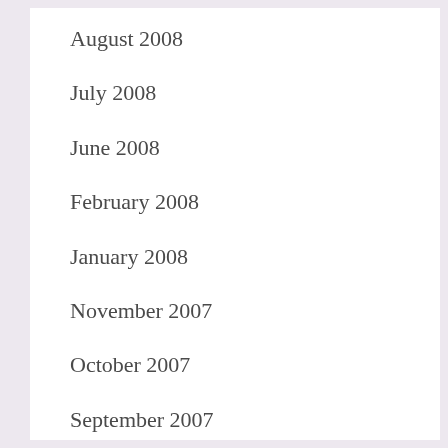August 2008
July 2008
June 2008
February 2008
January 2008
November 2007
October 2007
September 2007
August 2007
July 2007
June 2007
May 2007